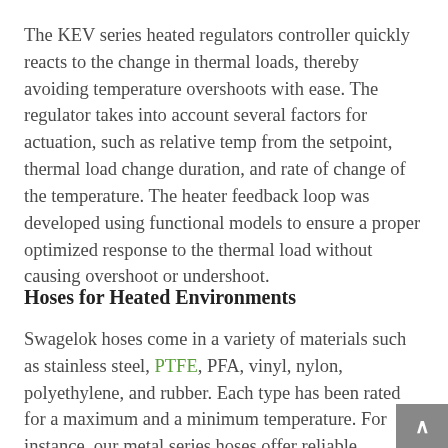The KEV series heated regulators controller quickly reacts to the change in thermal loads, thereby avoiding temperature overshoots with ease. The regulator takes into account several factors for actuation, such as relative temp from the setpoint, thermal load change duration, and rate of change of the temperature. The heater feedback loop was developed using functional models to ensure a proper optimized response to the thermal load without causing overshoot or undershoot.
Hoses for Heated Environments
Swagelok hoses come in a variety of materials such as stainless steel, PTFE, PFA, vinyl, nylon, polyethylene, and rubber. Each type has been rated for a maximum and a minimum temperature. For instance, our metal series hoses offer reliable performance within a range of -328°F to 999°F. If there is no extreme low temperature scenario wi...